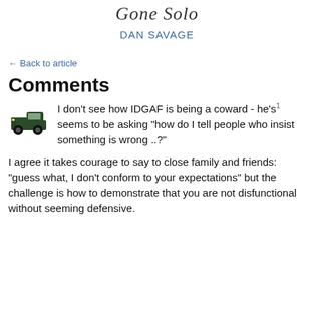Gone Solo
DAN SAVAGE
← Back to article
Comments
I don't see how IDGAF is being a coward - he's1 seems to be asking "how do I tell people who insist something is wrong ..?"
I agree it takes courage to say to close family and friends: "guess what, I don't conform to your expectations" but the challenge is how to demonstrate that you are not disfunctional without seeming defensive.